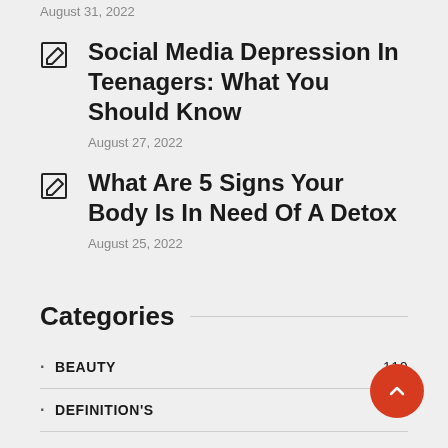August 31, 2022
Social Media Depression In Teenagers: What You Should Know — August 27, 2022
What Are 5 Signs Your Body Is In Need Of A Detox — August 25, 2022
Categories
BEAUTY 110
DEFINITION'S 29
DENTAL CARE 62